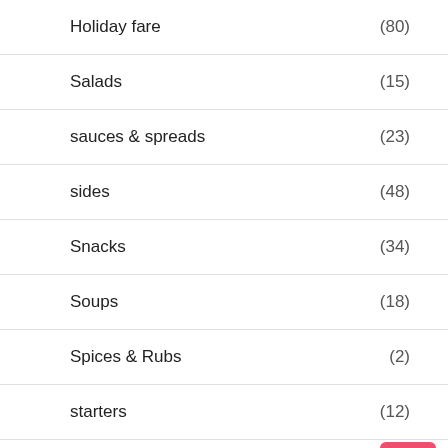Holiday fare (80)
Salads (15)
sauces & spreads (23)
sides (48)
Snacks (34)
Soups (18)
Spices & Rubs (2)
starters (12)
Homemaking with Hallee
Housekeeping (110)